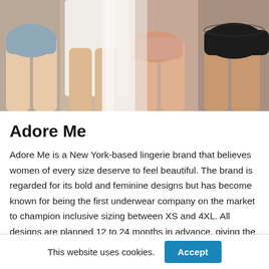[Figure (photo): Product lifestyle photo showing four women from behind wearing different styles of underwear: blue/grey, white, nude/pink, and black, standing close together.]
Adore Me
Adore Me is a New York-based lingerie brand that believes women of every size deserve to feel beautiful. The brand is regarded for its bold and feminine designs but has become known for being the first underwear company on the market to champion inclusive sizing between XS and 4XL. All designs are planned 12 to 24 months in advance, giving the
This website uses cookies.
Accept